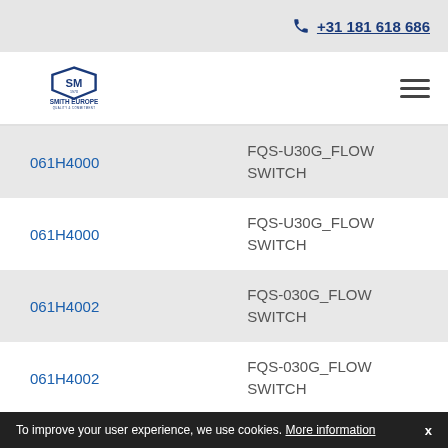+31 181 618 686
[Figure (logo): Smith Europe logo with shield emblem and text SMITH EUROPE QUALITY & COMMITMENT]
| Part Number | Description |
| --- | --- |
| 061H4000 | FQS-U30G_FLOW SWITCH |
| 061H4000 | FQS-U30G_FLOW SWITCH |
| 061H4002 | FQS-030G_FLOW SWITCH |
| 061H4002 | FQS-030G_FLOW SWITCH |
To improve your user experience, we use cookies. More information